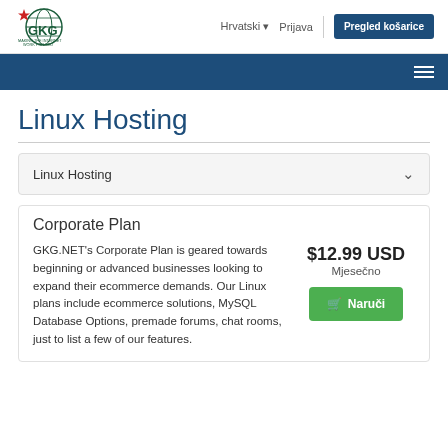[Figure (logo): GKG logo with star and globe, text MAKING THE INTERNET WORK FOR YOU]
Hrvatski  Prijava  Pregled košarice
Linux Hosting
Linux Hosting
Linux Hosting
Corporate Plan
GKG.NET's Corporate Plan is geared towards beginning or advanced businesses looking to expand their ecommerce demands. Our Linux plans include ecommerce solutions, MySQL Database Options, premade forums, chat rooms, just to list a few of our features.
$12.99 USD
Mjesečno
Naruči